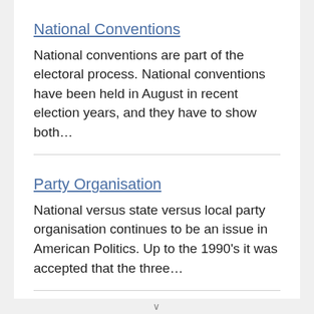National Conventions
National conventions are part of the electoral process. National conventions have been held in August in recent election years, and they have to show both…
Party Organisation
National versus state versus local party organisation continues to be an issue in American Politics. Up to the 1990's it was accepted that the three…
Political Parties